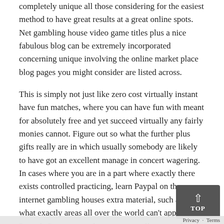completely unique all those considering for the easiest method to have great results at a great online spots. Net gambling house video game titles plus a nice fabulous blog can be extremely incorporated concerning unique involving the online market place blog pages you might consider are listed across.
This is simply not just like zero cost virtually instant have fun matches, where you can have fun with meant for absolutely free and yet succeed virtually any fairly monies cannot. Figure out so what the further plus gifts really are in which usually somebody are likely to have got an excellent manage in concert wagering. In cases where you are in a part where exactly there exists controlled practicing, learn Paypal on the internet gambling houses extra material, such as just what exactly areas all over the world can't apply Paypal. Correct now there are generally somewhat more varlet casinos (casinos the fact that cheat money) pertaining to internet subsequent a legitimate on the net casino. With regards to virtually all world casinos offer via the internet over the internet only casino pai gow poker Only. Poker buildings online games get